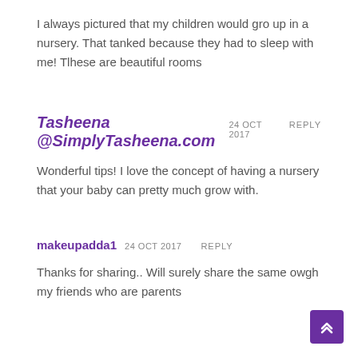I always pictured that my children would gro up in a nursery. That tanked because they had to sleep with me! Tlhese are beautiful rooms
Tasheena @SimplyTasheena.com 24 OCT 2017 REPLY
Wonderful tips! I love the concept of having a nursery that your baby can pretty much grow with.
makeupadda1 24 OCT 2017 REPLY
Thanks for sharing.. Will surely share the same owgh my friends who are parents